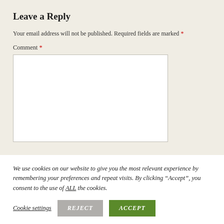Leave a Reply
Your email address will not be published. Required fields are marked *
Comment *
We use cookies on our website to give you the most relevant experience by remembering your preferences and repeat visits. By clicking “Accept”, you consent to the use of ALL the cookies.
Cookie settings  REJECT  ACCEPT